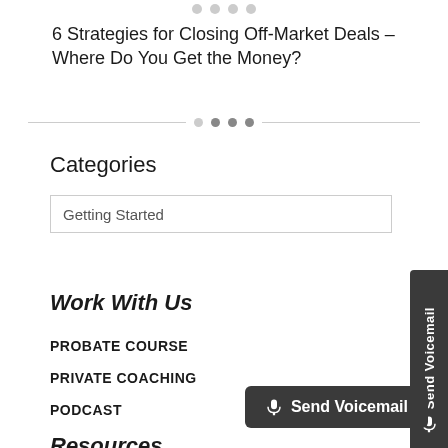6 Strategies for Closing Off-Market Deals – Where Do You Get the Money?
Categories
Getting Started
Work With Us
PROBATE COURSE
PRIVATE COACHING
PODCAST
Resources
Send Voicemail